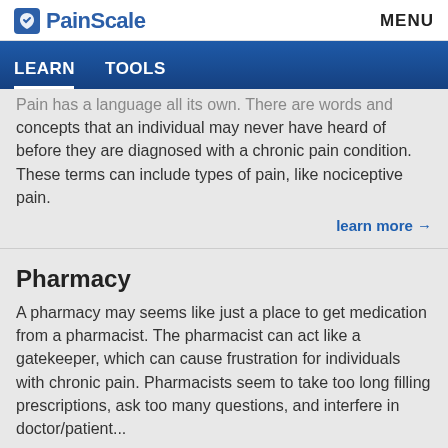PainScale | MENU
LEARN | TOOLS
Pain has a language all its own. There are words and concepts that an individual may never have heard of before they are diagnosed with a chronic pain condition. These terms can include types of pain, like nociceptive pain.
learn more →
Pharmacy
A pharmacy may seems like just a place to get medication from a pharmacist. The pharmacist can act like a gatekeeper, which can cause frustration for individuals with chronic pain. Pharmacists seem to take too long filling prescriptions, ask too many questions, and interfere in doctor/patient...
learn more →
Pain